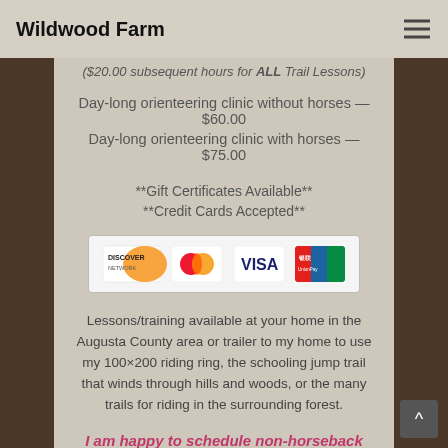Wildwood Farm
($20.00 subsequent hours for ALL Trail Lessons)
Day-long orienteering clinic without horses — $60.00
Day-long orienteering clinic with horses — $75.00
**Gift Certificates Available**
**Credit Cards Accepted**
[Figure (other): Credit card logos: Discover, MasterCard, Visa, UnionPay]
Lessons/training available at your home in the Augusta County area or trailer to my home to use my 100×200 riding ring, the schooling jump trail that winds through hills and woods, or the many trails for riding in the surrounding forest.
I am happy to schedule non-horseback riding orienteering lessons! Please give me